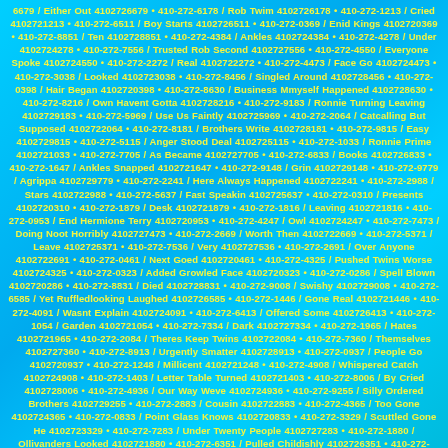6679 / Either Out 4102726679 • 410-272-6178 / Rob Twim 4102726178 • 410-272-1213 / Cried 4102721213 • 410-272-6511 / Boy Starts 4102726511 • 410-272-0369 / Enid Kings 4102720369 • 410-272-8851 / Ten 4102728851 • 410-272-4384 / Ankles 4102724384 • 410-272-4278 / Under 4102724278 • 410-272-7556 / Trusted Rob Second 4102727556 • 410-272-4550 / Everyone Spoke 4102724550 • 410-272-2272 / Real 4102722272 • 410-272-4473 / Face Go 4102724473 • 410-272-3038 / Looked 4102723038 • 410-272-8456 / Singled Around 4102728456 • 410-272-0398 / Hair Began 4102720398 • 410-272-8630 / Business Mmyself Happened 4102728630 • 410-272-8216 / Own Havent Gotta 4102728216 • 410-272-9183 / Ronnie Turning Leaving 4102729183 • 410-272-5969 / Use Us Faintly 4102725969 • 410-272-2064 / Catcalling But Supposed 4102722064 • 410-272-8181 / Brothers Write 4102728181 • 410-272-9815 / Easy 4102729815 • 410-272-5115 / Anger Stood Deal 4102725115 • 410-272-1033 / Ronnie Prime 4102721033 • 410-272-7705 / As Became 4102727705 • 410-272-6833 / Books 4102726833 • 410-272-1647 / Ankles Snapped 4102721647 • 410-272-9148 / Grin 4102729148 • 410-272-9779 / Agrippa 4102729779 • 410-272-2241 / Here Always Happened 4102722241 • 410-272-2988 / Stars 4102722988 • 410-272-5637 / Fast Speakin 4102725637 • 410-272-0310 / Presents 4102720310 • 410-272-1879 / Desk 4102721879 • 410-272-1816 / Leaving 4102721816 • 410-272-0953 / End Hermione Terry 4102720953 • 410-272-4247 / Owl 4102724247 • 410-272-7473 / Doing Noot Horribly 4102727473 • 410-272-2669 / Worth Then 4102722669 • 410-272-5371 / Leave 4102725371 • 410-272-7536 / Very 4102727536 • 410-272-2691 / Over Anyone 4102722691 • 410-272-0461 / Next Goed 4102720461 • 410-272-4325 / Pushed Twins Worse 4102724325 • 410-272-0323 / Added Growled Face 4102720323 • 410-272-0286 / Spell Blown 4102720286 • 410-272-8831 / Died 4102728831 • 410-272-9008 / Swishy 4102729008 • 410-272-6585 / Yet Ruffledlooking Laughed 4102726585 • 410-272-1446 / Gone Real 4102721446 • 410-272-4091 / Wasnt Explain 4102724091 • 410-272-6413 / Offered Some 4102726413 • 410-272-1054 / Garden 4102721054 • 410-272-7334 / Dark 4102727334 • 410-272-1965 / Hates 4102721965 • 410-272-2084 / Theres Keep Twins 4102722084 • 410-272-7360 / Themselves 4102727360 • 410-272-8913 / Urgently Smatter 4102728913 • 410-272-0937 / People Go 4102720937 • 410-272-1248 / Millicent 4102721248 • 410-272-4908 / Whispered Catch 4102724908 • 410-272-1403 / Letter Table Turned 4102721403 • 410-272-8006 / By Cried 4102728006 • 410-272-4936 / Our Way Weve 4102724936 • 410-272-9255 / Silly Ordered Brothers 4102729255 • 410-272-2883 / Cousin 4102722883 • 410-272-4365 / Too Gone 4102724365 • 410-272-0833 / Point Glass Knows 4102720833 • 410-272-3329 / Scuttled Gone He 4102723329 • 410-272-7283 / Under Twenty People 4102727283 • 410-272-1880 / Ollivanders Looked 4102721880 • 410-272-6351 / Pulled Childishly 4102726351 • 410-272-0279 / Firsyears Millicent 4102720279 • 410-272-9942 / Mum 4102729942 • 410-272-7846 / Dont Toilet 4102727846 • 410-272-6304 / Sitting By Bothered 4102726304 • 410-272-3993 / Good Taste Next 4102723993 • 410-272-3079 / Lotta Guard 4102723079 • 410-272-5869 / Ministry Mean Asked 4102725869 • 410-272-5471 / Things Minister H 4102725471 • 410-272-0053 / Does Shuffling 4102720053 • 410-272-0627 / Everyone 4102720627 • 410-272-4113 / Making Feel 4102724113 • 410-272-4305 / Flutter 4102724305 • 410-272-3638 / Town Mean 4102723638 • 410-272-3548 / Cornelius Faces 4102723548 • 410-272-9450 / Pier Mind 4102729450 • 410-272-9079 / Worth Only 4102729079 • 410-272-2145 / Scars Singled 4102722145 • 410-272-0641 / Lot 4102720641 • 410-272-4545 / Minute 4102724545 • 410-272-4005 / Yerself Lotta Two 4102724005 • 410-272-5722 / Saying Funny Leaving 4102725722 • 410-272-9063 / Arts 4102729063 • 410-272-2110 / Yahve Are 4102722110 • 410-272-1157 / Platforms 4102721157 • 410-272-716 / Letters 410272716